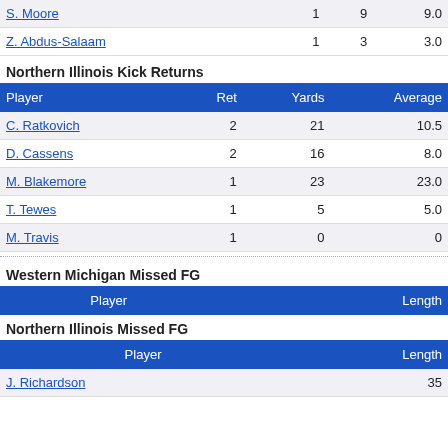| Player | Ret | Yards | Average |
| --- | --- | --- | --- |
| S. Moore | 1 | 9 | 9.0 |
| Z. Abdus-Salaam | 1 | 3 | 3.0 |
Northern Illinois Kick Returns
| Player | Ret | Yards | Average |
| --- | --- | --- | --- |
| C. Ratkovich | 2 | 21 | 10.5 |
| D. Cassens | 2 | 16 | 8.0 |
| M. Blakemore | 1 | 23 | 23.0 |
| T. Tewes | 1 | 5 | 5.0 |
| M. Travis | 1 | 0 | 0 |
Western Michigan Missed FG
| Player | Length |
| --- | --- |
Northern Illinois Missed FG
| Player | Length |
| --- | --- |
| J. Richardson | 35 |